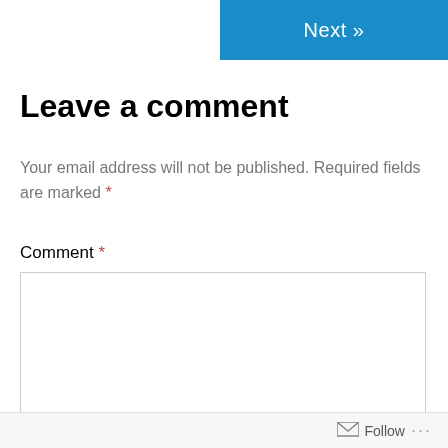Next »
Leave a comment
Your email address will not be published. Required fields are marked *
Comment *
Follow ...